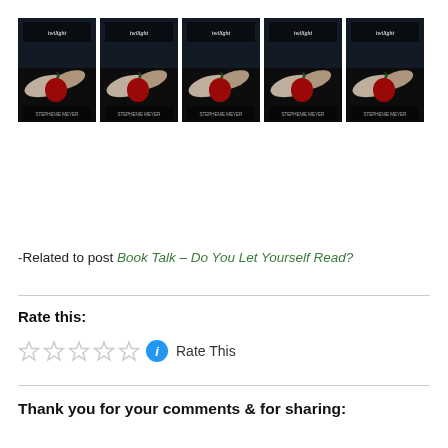[Figure (photo): Five identical Twilight book covers arranged in a horizontal row, each showing a pair of hands holding a red apple on a black background]
-Related to post Book Talk – Do You Let Yourself Read?
Rate this:
Rate This
Thank you for your comments & for sharing: